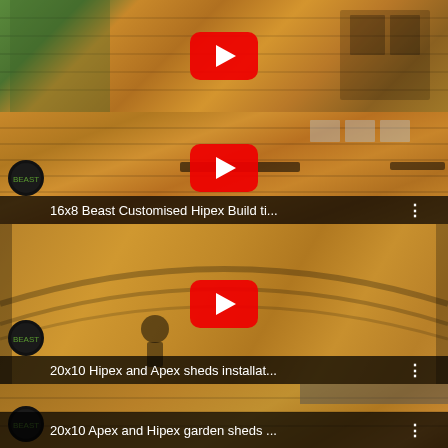[Figure (screenshot): YouTube video thumbnail showing a wooden shed/garden building, first video in a list]
[Figure (screenshot): YouTube video thumbnail: 16x8 Beast Customised Hipex Build ti... - wooden shed with black hinges and double doors]
[Figure (screenshot): YouTube video thumbnail: 20x10 Hipex and Apex sheds installat... - interior/exterior of large wooden shed]
[Figure (screenshot): YouTube video thumbnail: 20x10 Apex and Hipex garden sheds ... - wooden garden shed exterior]